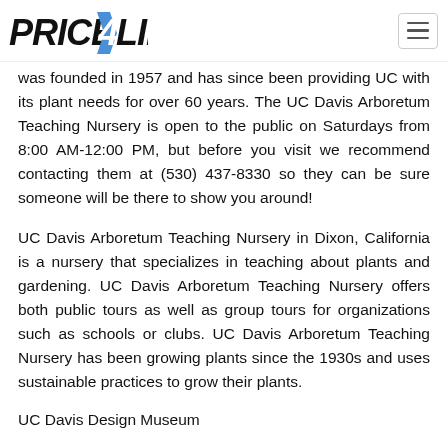Price4Limo [logo] [navigation menu]
was founded in 1957 and has since been providing UC with its plant needs for over 60 years. The UC Davis Arboretum Teaching Nursery is open to the public on Saturdays from 8:00 AM-12:00 PM, but before you visit we recommend contacting them at (530) 437-8330 so they can be sure someone will be there to show you around!
UC Davis Arboretum Teaching Nursery in Dixon, California is a nursery that specializes in teaching about plants and gardening. UC Davis Arboretum Teaching Nursery offers both public tours as well as group tours for organizations such as schools or clubs. UC Davis Arboretum Teaching Nursery has been growing plants since the 1930s and uses sustainable practices to grow their plants.
UC Davis Design Museum